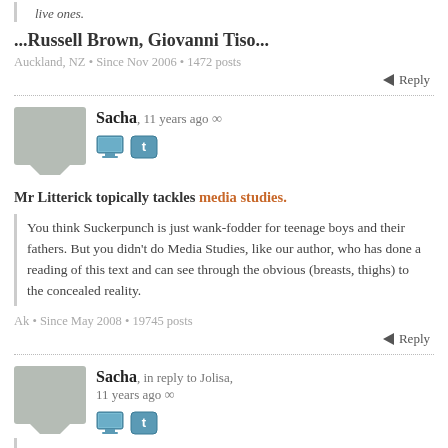live ones.
...Russell Brown, Giovanni Tiso...
Auckland, NZ • Since Nov 2006 • 1472 posts
Reply
Sacha, 11 years ago ∞
Mr Litterick topically tackles media studies.
You think Suckerpunch is just wank-fodder for teenage boys and their fathers. But you didn't do Media Studies, like our author, who has done a reading of this text and can see through the obvious (breasts, thighs) to the concealed reality.
Ak • Since May 2008 • 19745 posts
Reply
Sacha, in reply to Jolisa, 11 years ago ∞